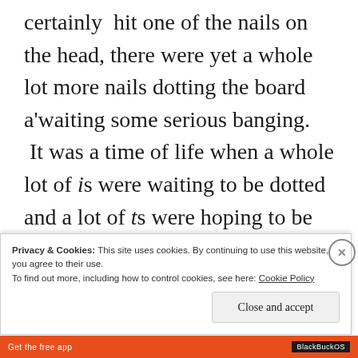certainly hit one of the nails on the head, there were yet a whole lot more nails dotting the board a'waiting some serious banging.  It was a time of life when a whole lot of is were waiting to be dotted and a lot of ts were hoping to be crossed . . . in other words, I was experiencing Life just like everyone else
Privacy & Cookies: This site uses cookies. By continuing to use this website, you agree to their use.
To find out more, including how to control cookies, see here: Cookie Policy
Close and accept